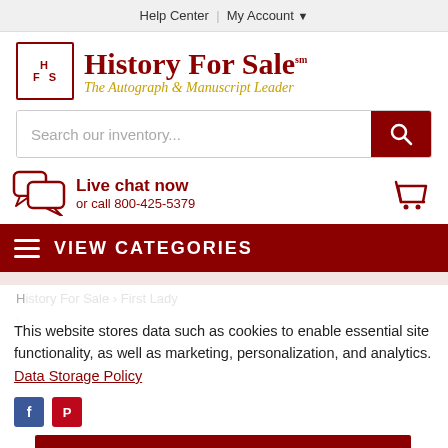Help Center | My Account
[Figure (logo): History For Sale logo with HFS box and serif text, subtitle: The Autograph & Manuscript Leader]
Search our inventory...
Live chat now
or call 800-425-5379
VIEW CATEGORIES
This website stores data such as cookies to enable essential site functionality, as well as marketing, personalization, and analytics. Data Storage Policy
Accept
Deny